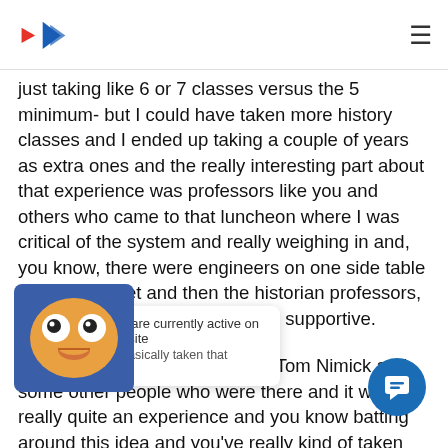[Logo] [Hamburger menu]
just taking like 6 or 7 classes versus the 5 minimum- but I could have taken more history classes and I ended up taking a couple of years as extra ones and the really interesting part about that experience was professors like you and others who came to that luncheon where I was critical of the system and really weighing in and, you know, there were engineers on one side table a little bit upset and then the historian professors, history professors became quite supportive.
[00:17:01] I remember you and Tom Nimick and some other people who were there and it was really quite an experience and you know batting around this idea and you've really kind of taken that and built on the title of my book, you know you've basically taken that whole area and really defined it, I mean, I think define the category and
1 users are currently active on our website
just now